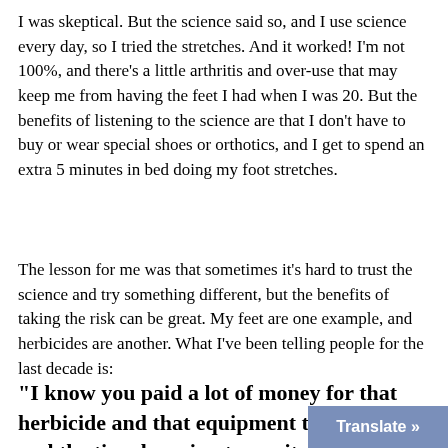I was skeptical. But the science said so, and I use science every day, so I tried the stretches. And it worked! I'm not 100%, and there's a little arthritis and over-use that may keep me from having the feet I had when I was 20. But the benefits of listening to the science are that I don't have to buy or wear special shoes or orthotics, and I get to spend an extra 5 minutes in bed doing my foot stretches.
The lesson for me was that sometimes it's hard to trust the science and try something different, but the benefits of taking the risk can be great. My feet are one example, and herbicides are another. What I've been telling people for the last decade is:
"I know you paid a lot of money for that herbicide and that equipment to apply it and the time learning to use it